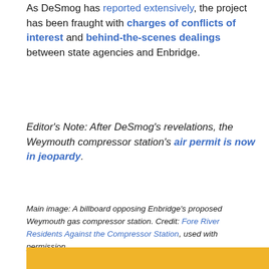As DeSmog has reported extensively, the project has been fraught with charges of conflicts of interest and behind-the-scenes dealings between state agencies and Enbridge.
Editor's Note: After DeSmog's revelations, the Weymouth compressor station's air permit is now in jeopardy.
Main image: A billboard opposing Enbridge's proposed Weymouth gas compressor station. Credit: Fore River Residents Against the Compressor Station, used with permission
[Figure (other): Social sharing icons row: Facebook, Twitter, Pinterest, Reddit, Print]
[Figure (other): Yellow bar / banner at bottom of page]